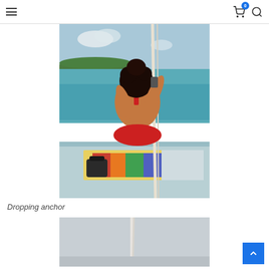Navigation header with hamburger menu, cart icon (badge: 0), and search icon
[Figure (photo): Woman in red bikini seen from behind, kneeling on the bow of a small boat, holding a rope/chain, with turquoise sea and green shoreline in background. Colorful towel and bag visible on boat deck.]
Dropping anchor
[Figure (photo): Partial view of a boat scene, grey sky, white rope/mast visible, continuation of boat photography series.]